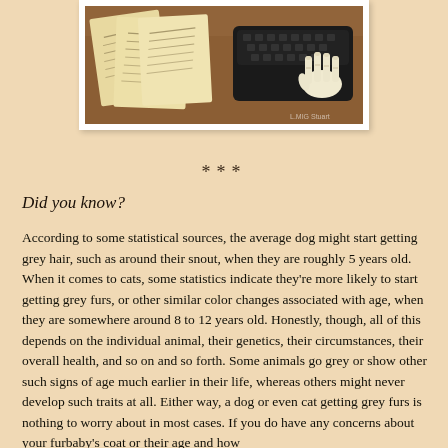[Figure (illustration): An illustration showing old handwritten papers/letters and a black typewriter with a skeletal hand on a wooden surface.]
***
Did you know?
According to some statistical sources, the average dog might start getting grey hair, such as around their snout, when they are roughly 5 years old. When it comes to cats, some statistics indicate they're more likely to start getting grey furs, or other similar color changes associated with age, when they are somewhere around 8 to 12 years old. Honestly, though, all of this depends on the individual animal, their genetics, their circumstances, their overall health, and so on and so forth. Some animals go grey or show other such signs of age much earlier in their life, whereas others might never develop such traits at all. Either way, a dog or even cat getting grey furs is nothing to worry about in most cases. If you do have any concerns about your furbaby's coat or their age and how